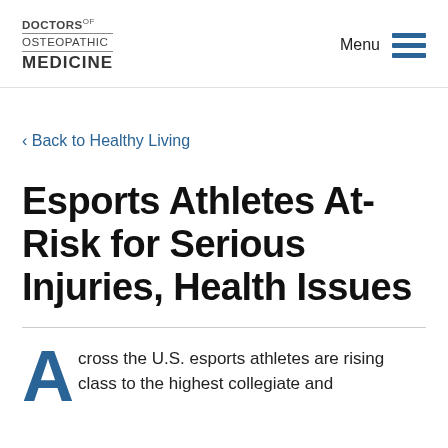DOCTORS OF OSTEOPATHIC MEDICINE | Menu
‹ Back to Healthy Living
Esports Athletes At-Risk for Serious Injuries, Health Issues
Across the U.S. esports athletes are rising class to the highest collegiate and